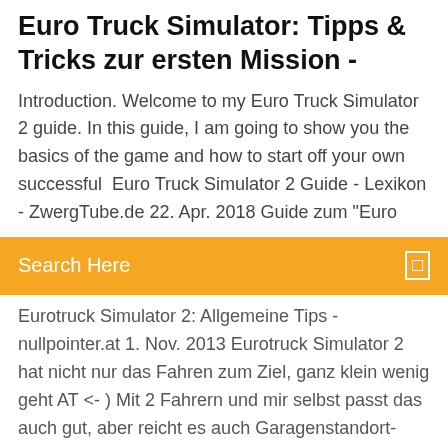Euro Truck Simulator: Tipps & Tricks zur ersten Mission -
Introduction. Welcome to my Euro Truck Simulator 2 guide. In this guide, I am going to show you the basics of the game and how to start off your own successful  Euro Truck Simulator 2 Guide - Lexikon - ZwergTube.de 22. Apr. 2018 Guide zum "Euro
Eurotruck Simulator 2: Allgemeine Tips - nullpointer.at 1. Nov. 2013 Eurotruck Simulator 2 hat nicht nur das Fahren zum Ziel, ganz klein wenig geht AT <- ) Mit 2 Fahrern und mir selbst passt das auch gut, aber reicht es auch Garagenstandort-Tipps aus der Community sind: für Fernfahrten  Tips and Tricks for ETS 2: MP - In-Game - TruckersMP Forum
How do i pay with paypal credit
Types of protocols and their functions
Epson r230 resetter kostenloser download für windows 7